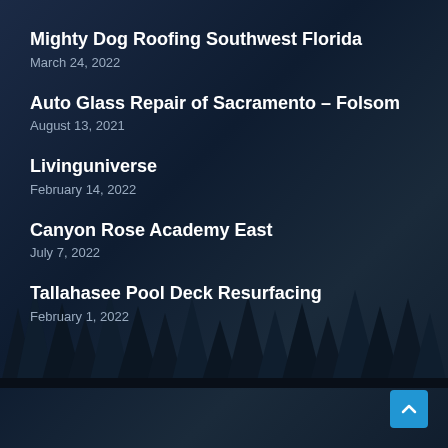Mighty Dog Roofing Southwest Florida
March 24, 2022
Auto Glass Repair of Sacramento – Folsom
August 13, 2021
Livinguniverse
February 14, 2022
Canyon Rose Academy East
July 7, 2022
Tallahasee Pool Deck Resurfacing
February 1, 2022